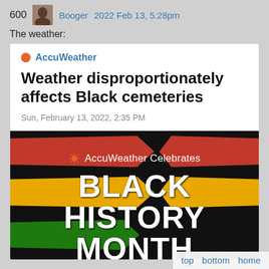600  Booger  2022 Feb 13, 5:28pm
The weather:
[Figure (screenshot): AccuWeather article card showing headline 'Weather disproportionately affects Black cemeteries' dated Sun, February 13, 2022, 2:35 PM, with a Black History Month promotional banner below featuring Pan-African flag colors (red, gold, green) and bold white text reading 'AccuWeather Celebrates BLACK HISTORY MONTH']
top  bottom  home